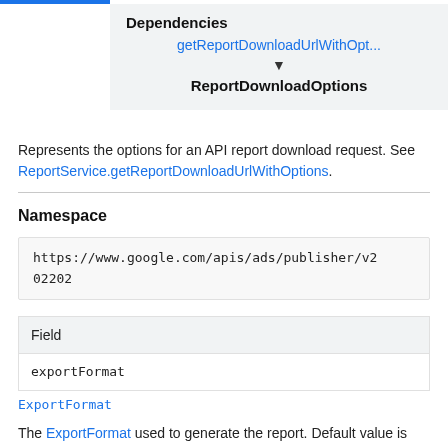[Figure (flowchart): Dependencies diagram showing getReportDownloadUrlWithOpt... pointing down via arrow to ReportDownloadOptions]
Represents the options for an API report download request. See ReportService.getReportDownloadUrlWithOptions.
Namespace
https://www.google.com/apis/ads/publisher/v202202
| Field |
| --- |
| exportFormat |
ExportFormat
The ExportFormat used to generate the report. Default value is